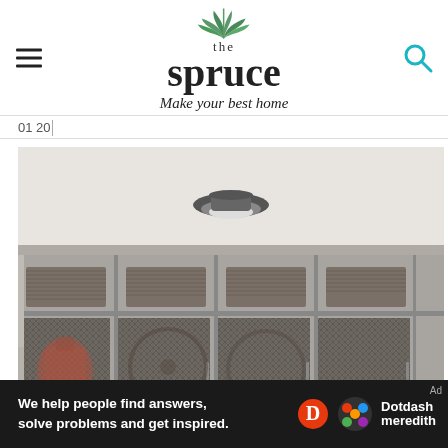[Figure (logo): The Spruce logo with green leaf illustration, tagline 'Make your best home']
01 20
[Figure (photo): Interior photo of a mudroom with gray built-in cabinetry featuring mesh-front cabinet doors, upper open shelves with wicker baskets, and a round flush-mount ceiling light above]
We help people find answers, solve problems and get inspired. Dotdash meredith